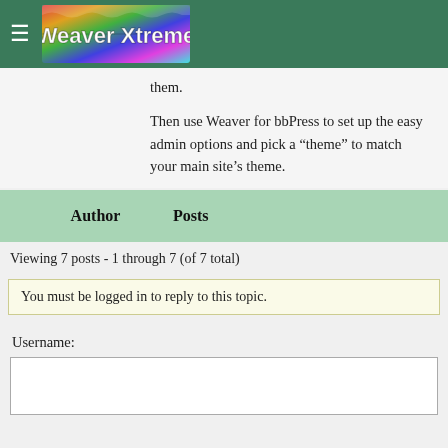Weaver Xtreme
them.

Then use Weaver for bbPress to set up the easy admin options and pick a “theme” to match your main site’s theme.
| Author | Posts |
| --- | --- |
Viewing 7 posts - 1 through 7 (of 7 total)
You must be logged in to reply to this topic.
Username: